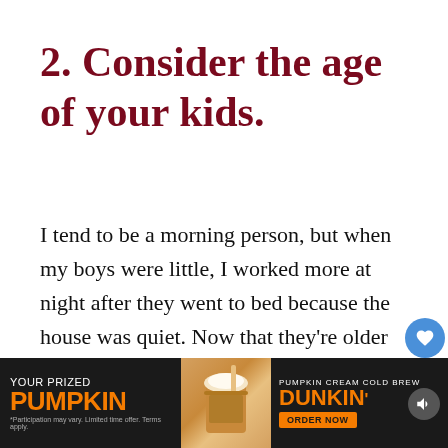2. Consider the age of your kids.
I tend to be a morning person, but when my boys were little, I worked more at night after they went to bed because the house was quiet. Now that they're older and stay up later, I try to get some work done before they wake up in the morning. If your kids are school age and will be doing e-learning
[Figure (other): Bottom advertisement banner for Dunkin' Pumpkin Cream Cold Brew with orange text on dark background and cup image]